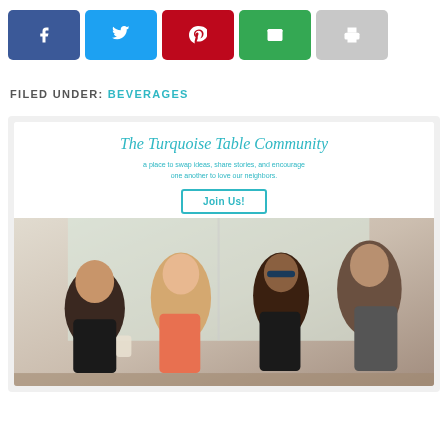[Figure (infographic): Social sharing buttons: Facebook (blue), Twitter (light blue), Pinterest (red), Email (green), Print (gray)]
FILED UNDER: BEVERAGES
[Figure (infographic): The Turquoise Table Community advertisement banner. Cursive title 'The Turquoise Table Community', subtitle 'a place to swap ideas, share stories, and encourage one another to love our neighbors', a teal 'Join Us!' button, and a photo of four women sitting together laughing and talking.]